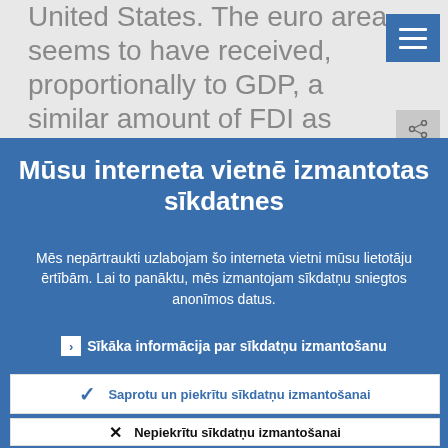United States. The euro area seems to have received, proportionally to GDP, a similar amount of FDI as China, 27.3% for both economies, according to the IMF statistics.
Mūsu interneta vietnē izmantotas sīkdatnes
Mēs nepārtraukti uzlabojam šo interneta vietni mūsu lietotāju ērtībām. Lai to panāktu, mēs izmantojam sīkdatņu sniegtos anonīmos datus.
› Sīkāka informācija par sīkdatņu izmantošanu
✓ Saprotu un piekrītu sīkdatņu izmantošanai
✕ Nepiekrītu sīkdatņu izmantošanai